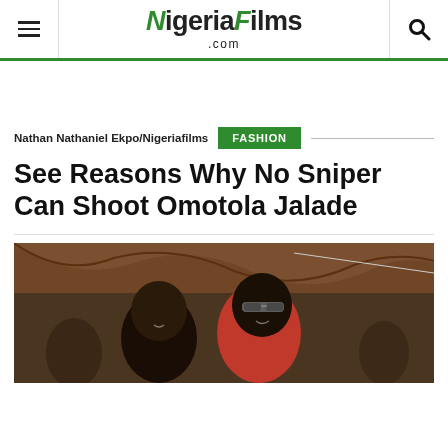NigeriaFilms.com
Nathan Nathaniel Ekpo/Nigeriafilms
FASHION
See Reasons Why No Sniper Can Shoot Omotola Jalade
[Figure (photo): Omotola Jalade and a man in red shirt wearing sunglasses, smiling at each other in front of a draped brown fabric background]